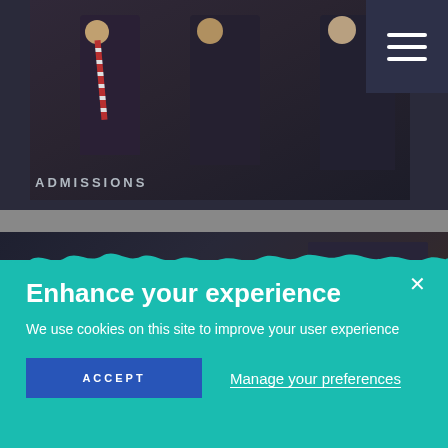[Figure (photo): Top image showing school students or staff in formal attire with striped ties, dark background. ADMISSIONS text overlay. Dark navy menu hamburger button top right.]
ADMISSIONS
[Figure (photo): Second image showing two school students wearing safety goggles in a science lab setting, dark toned photo.]
Enhance your experience
We use cookies on this site to improve your user experience
ACCEPT
Manage your preferences